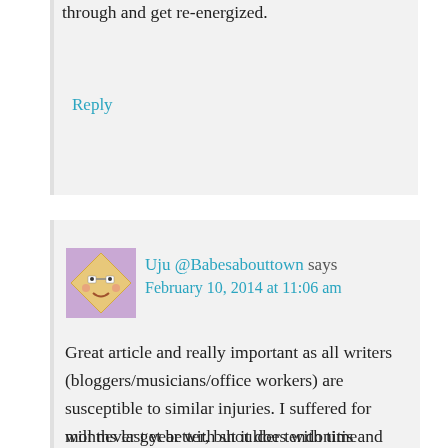through and get re-energized.
Reply
Uju @Babesabouttown says
February 10, 2014 at 11:06 am
Great article and really important as all writers (bloggers/musicians/office workers) are susceptible to similar injuries. I suffered for months last year with shoulder tendonitis and trapped nerve in my neck, with referred pain all the way down my left arm to my fingers. There comes a point when you think it will never get better, but it does with time